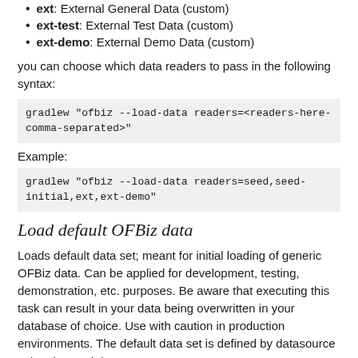ext: External General Data (custom)
ext-test: External Test Data (custom)
ext-demo: External Demo Data (custom)
you can choose which data readers to pass in the following syntax:
gradlew "ofbiz --load-data readers=<readers-here-comma-separated>"
Example:
gradlew "ofbiz --load-data readers=seed,seed-initial,ext,ext-demo"
Load default OFBiz data
Loads default data set; meant for initial loading of generic OFBiz data. Can be applied for development, testing, demonstration, etc. purposes. Be aware that executing this task can result in your data being overwritten in your database of choice. Use with caution in production environments. The default data set is defined by datasource using the road data